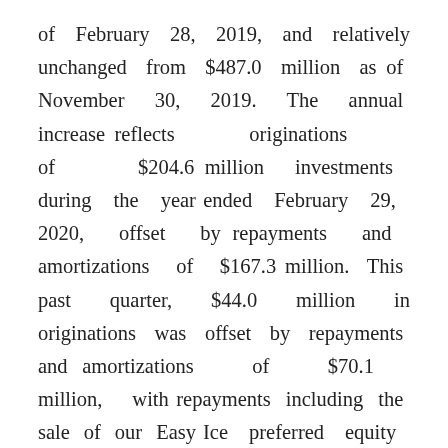of February 28, 2019, and relatively unchanged from $487.0 million as of November 30, 2019. The annual increase reflects originations of $204.6 million investments during the year ended February 29, 2020, offset by repayments and amortizations of $167.3 million. This past quarter, $44.0 million in originations was offset by repayments and amortizations of $70.1 million, with repayments including the sale of our Easy Ice preferred equity investment that generated a $31.2 million realized gain on a $10.7 million cost basis. Saratoga Investment's portfolio remains strong, with